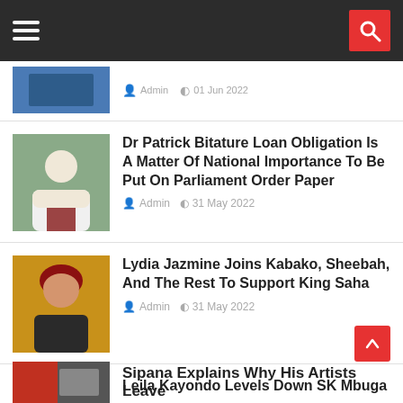Navigation bar with hamburger menu and search button
Admin  01 Jun 2022
Dr Patrick Bitature Loan Obligation Is A Matter Of National Importance To Be Put On Parliament Order Paper — Admin  31 May 2022
Lydia Jazmine Joins Kabako, Sheebah, And The Rest To Support King Saha — Admin  31 May 2022
Leila Kayondo Levels Down SK Mbuga — Admin  31 May 2022
Sipana Explains Why His Artists Leave